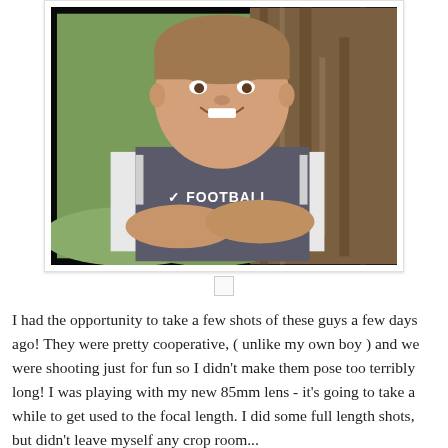[Figure (photo): A smiling young boy with arms crossed, leaning against a tree. He is wearing a grey Nike Football short-sleeve shirt over a white long-sleeve shirt. Background shows green grass and tree bark. Photo has a black border and is presented in a white polaroid-style frame.]
I had the opportunity to take a few shots of these guys a few days ago! They were pretty cooperative, ( unlike my own boy ) and we were shooting just for fun so I didn't make them pose too terribly long! I was playing with my new 85mm lens - it's going to take a while to get used to the focal length. I did some full length shots, but didn't leave myself any crop room...